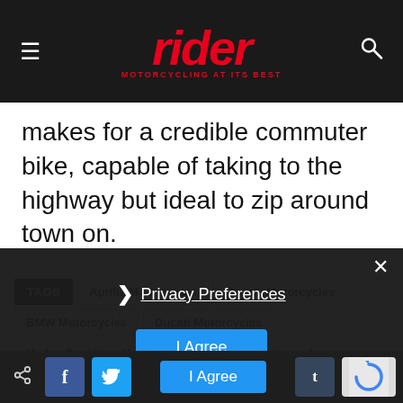rider — MOTORCYCLING AT ITS BEST
makes for a credible commuter bike, capable of taking to the highway but ideal to zip around town on.
TAGS: Aprilia Motorcycles | Benelli Motorcycles | BMW Motorcycles | Ducati Motorcycles | Harley-Davidson Motorcycles | Honda Motorcycles | Indian Motorcycles | Kawasaki Motorcycles | KTM Motorcycles | Moto Guzzi Motorcycles | Triumph Motorcycles | Yamaha Motorcycles
Privacy Preferences
I Agree